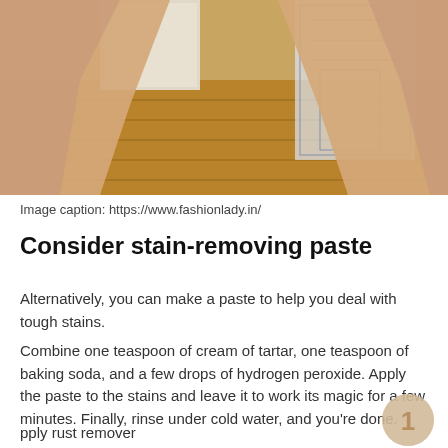[Figure (photo): Two hands framing a view of a kitchen interior with wooden floor, white cabinets, and a partially sketched/rendered right side of the image]
Image caption: https://www.fashionlady.in/
Consider stain-removing paste
Alternatively, you can make a paste to help you deal with tough stains.
Combine one teaspoon of cream of tartar, one teaspoon of baking soda, and a few drops of hydrogen peroxide. Apply the paste to the stains and leave it to work its magic for a few minutes. Finally, rinse under cold water, and you're done.
pply rust remover